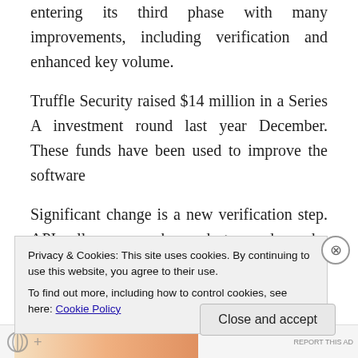entering its third phase with many improvements, including verification and enhanced key volume.
Truffle Security raised $14 million in a Series A investment round last year December. These funds have been used to improve the software
Significant change is a new verification step. API calls can now be made to vendors who provide keys to validate a newly-discovered key. Secret detectors are also now preflight to host
Privacy & Cookies: This site uses cookies. By continuing to use this website, you agree to their use. To find out more, including how to control cookies, see here: Cookie Policy
Close and accept